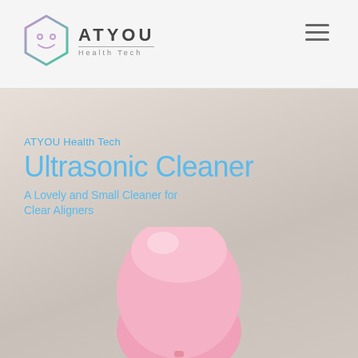ATYOU Health Tech
[Figure (photo): Pink ultrasonic cleaner device on a blurred neutral background]
ATYOU Health Tech
Ultrasonic Cleaner
A Lovely and Small Cleaner for Clear Aligners